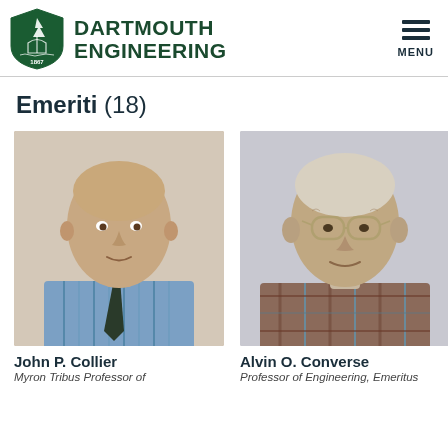DARTMOUTH ENGINEERING
Emeriti (18)
[Figure (photo): Headshot of John P. Collier, middle-aged man in striped shirt and tie, balding]
John P. Collier
Myron Tribus Professor of
[Figure (photo): Headshot of Alvin O. Converse, elderly man with glasses wearing a plaid shirt]
Alvin O. Converse
Professor of Engineering, Emeritus